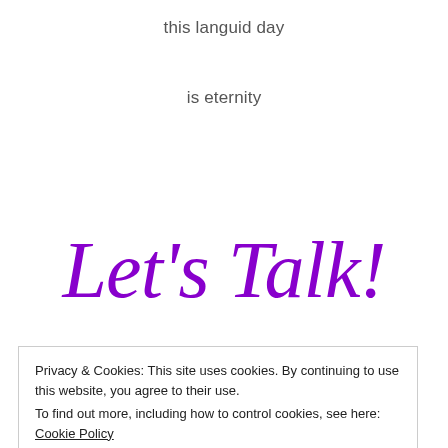this languid day
is eternity
Let's Talk!
Privacy & Cookies: This site uses cookies. By continuing to use this website, you agree to their use. To find out more, including how to control cookies, see here: Cookie Policy
Close and accept